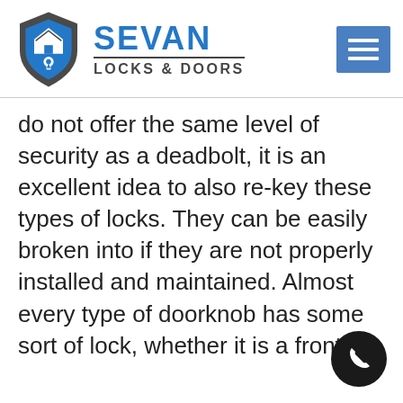[Figure (logo): Sevan Locks & Doors logo with shield icon, blue SEVAN text, and LOCKS & DOORS subtitle]
do not offer the same level of security as a deadbolt, it is an excellent idea to also re-key these types of locks. They can be easily broken into if they are not properly installed and maintained. Almost every type of doorknob has some sort of lock, whether it is a front